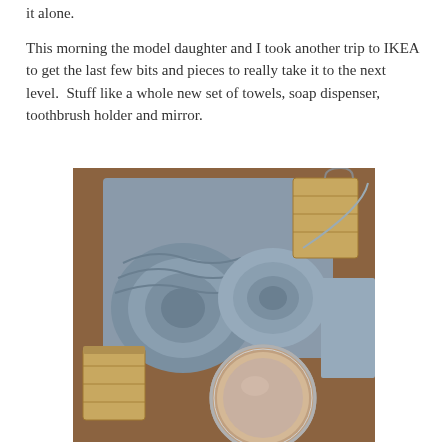it alone.
This morning the model daughter and I took another trip to IKEA to get the last few bits and pieces to really take it to the next level. Stuff like a whole new set of towels, soap dispenser, toothbrush holder and mirror.
[Figure (photo): Photo of bathroom accessories purchased from IKEA laid out on a wooden surface: rolled grey towels, a bamboo toothbrush holder box, a bamboo soap dispenser, and a round chrome mirror.]